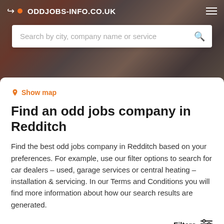ODDJOBS-INFO.CO.UK
[Figure (screenshot): Search bar with placeholder text 'Search by city, company name or service' over a hero background image]
Show map
Find an odd jobs company in Redditch
Find the best odd jobs company in Redditch based on your preferences. For example, use our filter options to search for car dealers – used, garage services or central heating – installation & servicing. In our Terms and Conditions you will find more information about how our search results are generated.
Filters